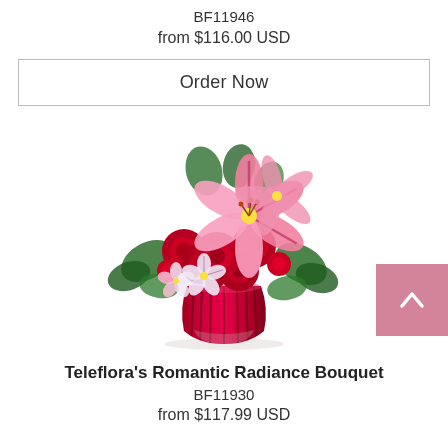BF11946
from $116.00 USD
Order Now
[Figure (photo): A floral bouquet featuring red roses, pink stargazer lilies, small red spray roses, white and pink alstroemeria, and green foliage arranged in a red ribbed glass vase.]
Teleflora's Romantic Radiance Bouquet
BF11930
from $117.99 USD